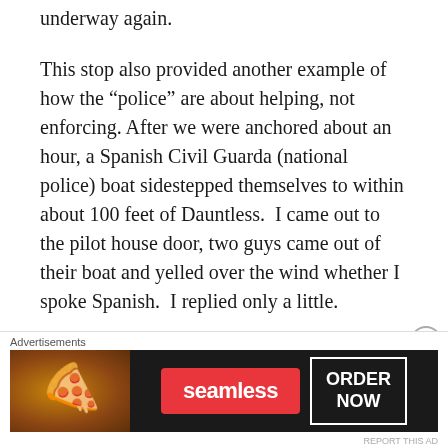underway again.
This stop also provided another example of how the “police” are about helping, not enforcing. After we were anchored about an hour, a Spanish Civil Guarda (national police) boat sidestepped themselves to within about 100 feet of Dauntless.  I came out to the pilot house door, two guys came out of their boat and yelled over the wind whether I spoke Spanish.  I replied only a little.
They asked, “problem”. I responded, “no, I wait for wind” They waved, said OK Adios and slowly motored off, until their wake would not rock us
[Figure (infographic): Seamless food delivery advertisement banner with pizza image on left, red Seamless logo button in center, and ORDER NOW button on right, on dark background.]